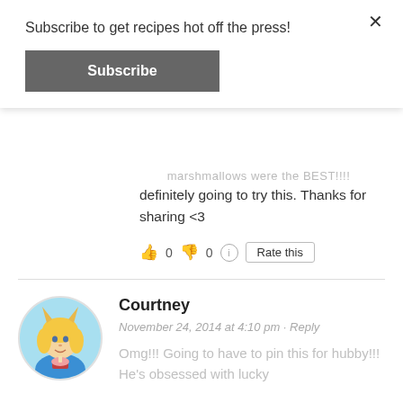Subscribe to get recipes hot off the press!
Subscribe
marshmallows were the BEST!!!!
definitely going to try this. Thanks for sharing <3
👍 0 👎 0  Rate this
Courtney
November 24, 2014 at 4:10 pm · Reply
Omg!!! Going to have to pin this for hubby!!! He's obsessed with lucky